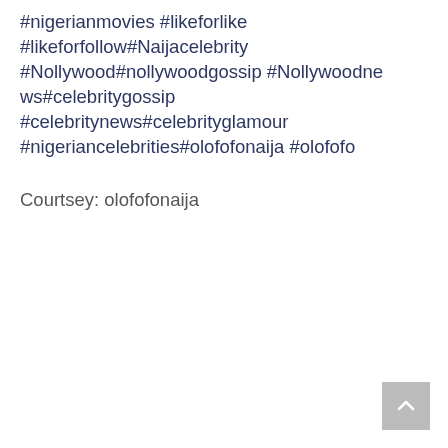#nigerianmovies #likeforlike #likeforfollow#Naijacelebrity #Nollywood#nollywoodgossip #Nollywoodne ws#celebritygossip #celebritynews#celebrityglamour #nigeriancelebrities#olofofonaija #olofofo
Courtsey: olofofonaija